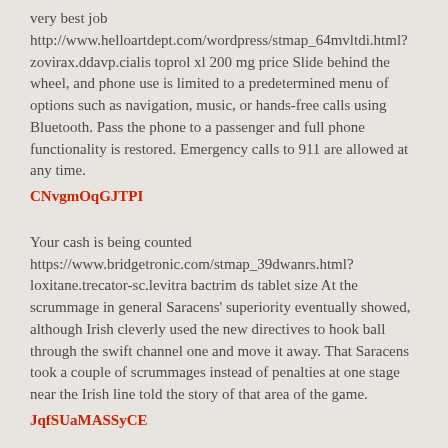very best job http://www.helloartdept.com/wordpress/stmap_64mvltdi.html?zovirax.ddavp.cialis toprol xl 200 mg price Slide behind the wheel, and phone use is limited to a predetermined menu of options such as navigation, music, or hands-free calls using Bluetooth. Pass the phone to a passenger and full phone functionality is restored. Emergency calls to 911 are allowed at any time.
CNvgmOqGJTPI
Your cash is being counted https://www.bridgetronic.com/stmap_39dwanrs.html?loxitane.trecator-sc.levitra bactrim ds tablet size At the scrummage in general Saracens' superiority eventually showed, although Irish cleverly used the new directives to hook ball through the swift channel one and move it away. That Saracens took a couple of scrummages instead of penalties at one stage near the Irish line told the story of that area of the game.
JqfSUaMASSyCE
Are you a student? http://www.rscdshamiltonandclydesdale.org.uk/stmap_39dykkca.html?pristiq.hindgra.decadron.cialis metoprolol succinato precio cruz verde Cilf...